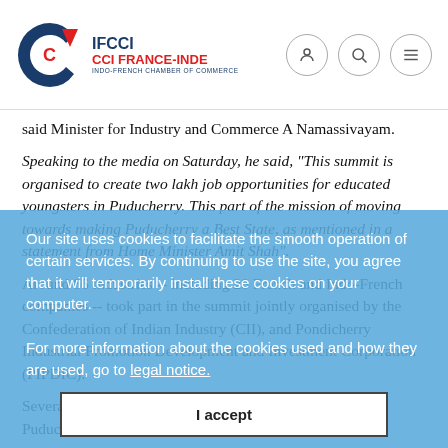IFCCI CCI FRANCE-INDE INDO-FRENCH CHAMBER OF COMMERCE
said Minister for Industry and Commerce A Namassivayam.
Speaking to the media on Saturday, he said, "This summit is organised to create two lakh job opportunities for educated youngsters in Puducherry. This part of the mission of moving towards making Puducherry a Best State, as mentioned in a statement from Home Minister Amit Shah".
Our site uses cookies to facilitate the smooth operation of certain services. By continuing to use the site, you agree that it will temporarily install these cookies on your computer.
For more information about the cookies used and how they are used, go to legal notice.
I accept
Around 86 industries -- including 28 French and Indo-French companies -- took part in the summit jointly organised by the Confederation of Indian Industry (CII), and Pondicherry Industrial Promotion Development and Investment Corporation (PIPDIC).
Several firms are interested in opening their industry in Puducherry, and the government will take necessary